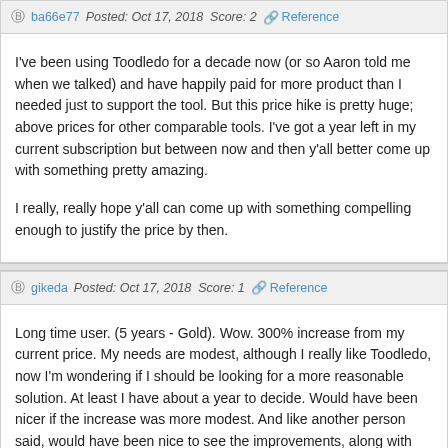ba66e77   Posted: Oct 17, 2018   Score: 2   🔗 Reference
I've been using Toodledo for a decade now (or so Aaron told me when we talked) and have happily paid for more product than I needed just to support the tool. But this price hike is pretty huge; above prices for other comparable tools. I've got a year left in my current subscription but between now and then y'all better come up with something pretty amazing.

I really, really hope y'all can come up with something compelling enough to justify the price by then.
gikeda   Posted: Oct 17, 2018   Score: 1   🔗 Reference
Long time user. (5 years - Gold). Wow. 300% increase from my current price. My needs are modest, although I really like Toodledo, now I'm wondering if I should be looking for a more reasonable solution. At least I have about a year to decide. Would have been nicer if the increase was more modest. And like another person said, would have been nice to see the improvements, along with more modest price increases. Toodledo is one of the few subscriptions services I use